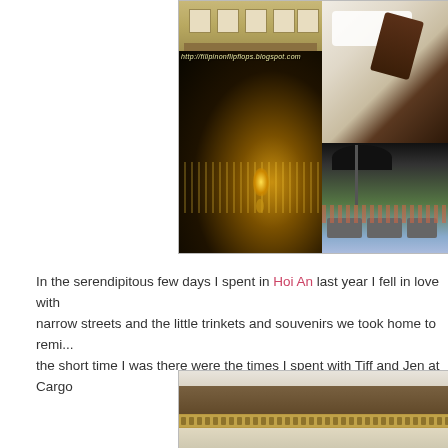[Figure (photo): Collage of four photos from Hoi An: top-left shows a building exterior/restaurant facade, top-right shows a dessert/food on white plate, bottom-left shows a night scene with lanterns and water reflections with watermark 'http://filipinonflipflops.blogspot.com', bottom-right shows a rooftop terrace with umbrella and city view]
In the serendipitous few days I spent in Hoi An last year I fell in love with narrow streets and the little trinkets and souvenirs we took home to remind the short time I was there were the times I spent with Tiff and Jen at Cargo
[Figure (photo): Bottom photo showing a traditional Vietnamese building with ornate tiled roof and decorative architectural band/facade with repeating pattern]